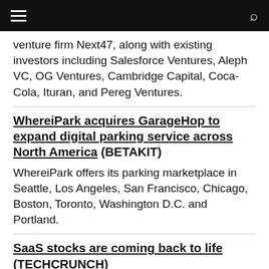[hamburger menu] [search icon]
venture firm Next47, along with existing investors including Salesforce Ventures, Aleph VC, OG Ventures, Cambridge Capital, Coca-Cola, Ituran, and Pereg Ventures.
WhereiPark acquires GarageHop to expand digital parking service across North America (BETAKIT)
WhereiPark offers its parking marketplace in Seattle, Los Angeles, San Francisco, Chicago, Boston, Toronto, Washington D.C. and Portland.
SaaS stocks are coming back to life (TECHCRUNCH)